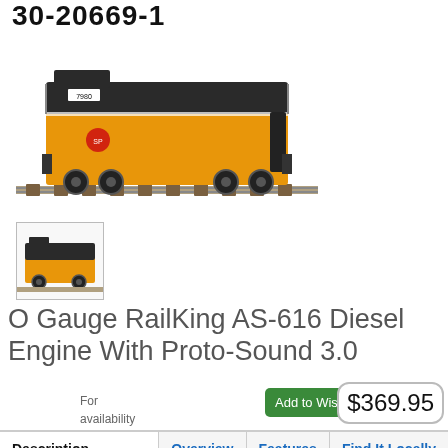30-20669-1
[Figure (photo): Main product photo of an O Gauge RailKing AS-616 Diesel Engine, orange and black locomotive on track.]
[Figure (photo): Thumbnail product photo of the same orange and black locomotive, front-angle view.]
O Gauge RailKing AS-616 Diesel Engine With Proto-Sound 3.0
For availability see 'Find it locally' tab
Add to Wishlist
$369.95
| Description | Overview | Features | Find It Locally |
| --- | --- | --- | --- |
| Support |  |  |  |